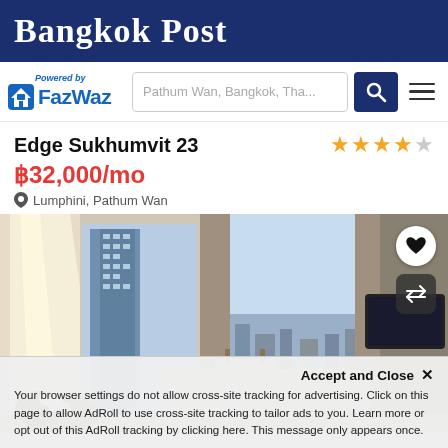Bangkok Post
[Figure (screenshot): FazWaz logo with 'Powered by' text and house icon, alongside a search bar showing 'Pathum Wan, Bangkok, Tha...' with search and menu buttons]
Edge Sukhumvit 23
฿32,000/mo
Lumphini, Pathum Wan
[Figure (photo): Interior of a modern luxury condominium room with large floor-to-ceiling windows showing a city skyline, white sofa, TV unit, and decorative plants. Heart and swap icons overlay in top right corner.]
Accept and Close ×
Your browser settings do not allow cross-site tracking for advertising. Click on this page to allow AdRoll to use cross-site tracking to tailor ads to you. Learn more or opt out of this AdRoll tracking by clicking here. This message only appears once.